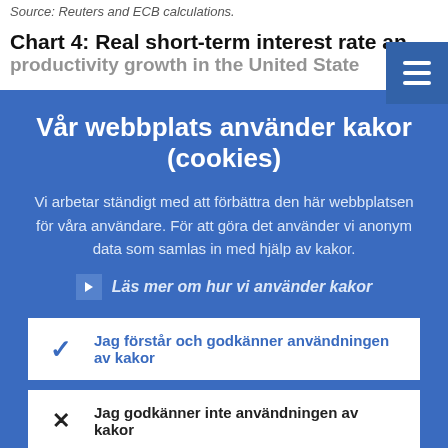Source: Reuters and ECB calculations.
Chart 4: Real short-term interest rate an productivity growth in the United States
Vår webbplats använder kakor (cookies)
Vi arbetar ständigt med att förbättra den här webbplatsen för våra användare. För att göra det använder vi anonym data som samlas in med hjälp av kakor.
Läs mer om hur vi använder kakor
Jag förstår och godkänner användningen av kakor
Jag godkänner inte användningen av kakor